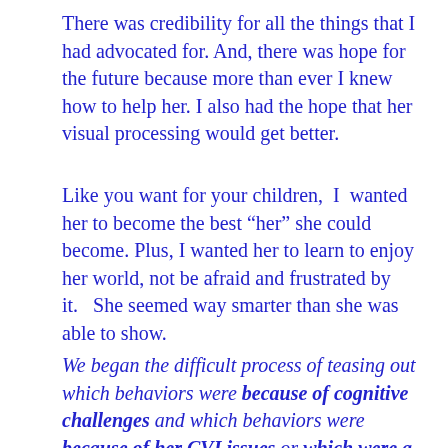There was credibility for all the things that I had advocated for.  And, there was hope for the future because more than ever I knew how to help her.  I also had the hope that her visual processing would get better.
Like you want for your children,  I  wanted her to become the best “her” she could become.  Plus, I wanted her to learn to enjoy her world, not be afraid and frustrated by it.   She seemed way smarter than she was able to show.
We began the difficult process of teasing out which behaviors were because of cognitive challenges and which behaviors were because of her CVI issues or which were a combination of both.  You see, because